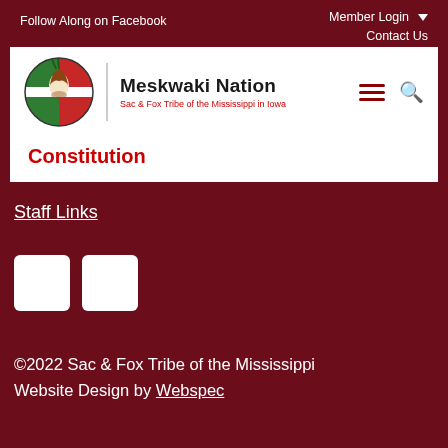Follow Along on Facebook
Member Login ▾
Contact Us
[Figure (logo): Meskwaki Nation logo — circular emblem with Native American chief profile, green and red colors. Text: Meskwaki Nation, Sac & Fox Tribe of the Mississippi in Iowa]
Constitution
Staff Links
[Figure (illustration): Two small white square icon boxes, likely social media or navigation icons]
©2022 Sac & Fox Tribe of the Mississippi Website Design by Webspec